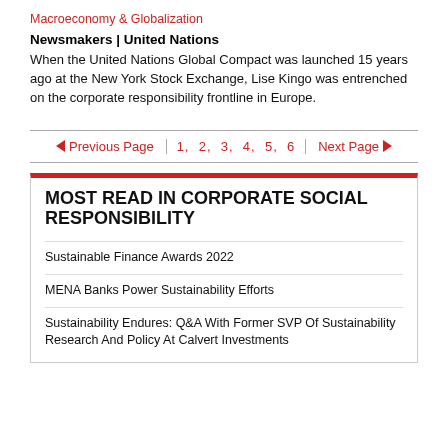Macroeconomy & Globalization
Newsmakers | United Nations
When the United Nations Global Compact was launched 15 years ago at the New York Stock Exchange, Lise Kingo was entrenched on the corporate responsibility frontline in Europe.
◄ Previous Page  |  1,  2,  3,  4,  5,  6  |  Next Page ►
MOST READ IN CORPORATE SOCIAL RESPONSIBILITY
Sustainable Finance Awards 2022
MENA Banks Power Sustainability Efforts
Sustainability Endures: Q&A With Former SVP Of Sustainability Research And Policy At Calvert Investments